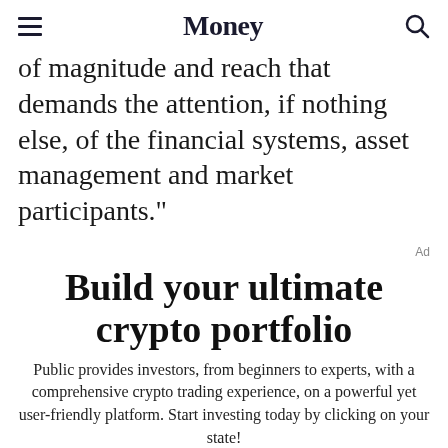Money
of magnitude and reach that demands the attention, if nothing else, of the financial systems, asset management and market participants."
Ad
Build your ultimate crypto portfolio
Public provides investors, from beginners to experts, with a comprehensive crypto trading experience, on a powerful yet user-friendly platform. Start investing today by clicking on your state!